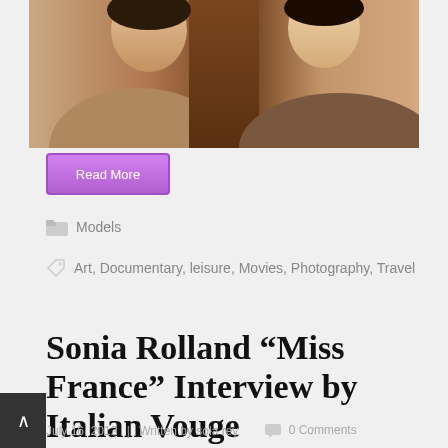[Figure (photo): Two female models posed together, text overlay reading MODELS OF COLOR]
Read More
Models
Art, Documentary, leisure, Movies, Photography, Travel
Sonia Rolland “Miss France” Interview by Italian Vouge
July 16, 2012  |  Written by sola rey  0 Comments